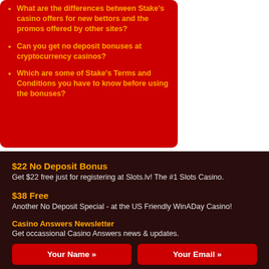What are the differences between Stake's casino offers for new bettors and the promos offered by other sites?
Can you get no deposit bonuses at cryptocurrency casinos?
Which are some of Stake's Terms and Conditions you have to know before using the bonuses?
$22 No Deposit Bonus
Get $22 free just for registering at Slots.lv! The #1 Slots Casino.
$38 Free
Another No Deposit Special - at the US Friendly WinADay Casino!
Casino Answers Newsletter
Get occassional Casino Answers news & updates.